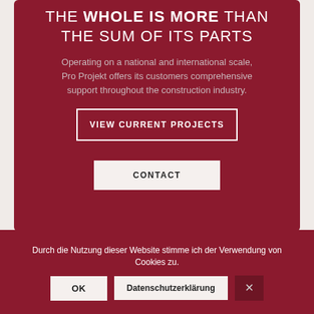THE WHOLE IS MORE THAN THE SUM OF ITS PARTS
Operating on a national and international scale, Pro Projekt offers its customers comprehensive support throughout the construction industry.
VIEW CURRENT PROJECTS
CONTACT
Durch die Nutzung dieser Website stimme ich der Verwendung von Cookies zu.
OK
Datenschutzerklärung